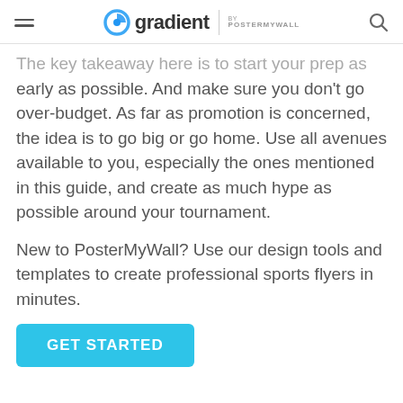gradient BY POSTERMYWALL
The key takeaway here is to start your prep as early as possible. And make sure you don't go over-budget. As far as promotion is concerned, the idea is to go big or go home. Use all avenues available to you, especially the ones mentioned in this guide, and create as much hype as possible around your tournament.
New to PosterMyWall? Use our design tools and templates to create professional sports flyers in minutes.
GET STARTED